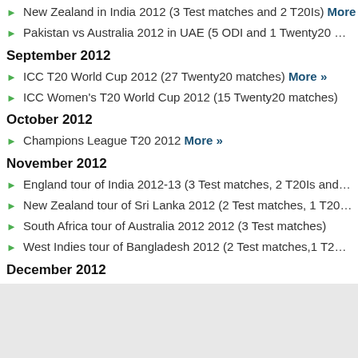New Zealand in India 2012 (3 Test matches and 2 T20Is) More »
Pakistan vs Australia 2012 in UAE (5 ODI and 1 Twenty20 …
September 2012
ICC T20 World Cup 2012 (27 Twenty20 matches) More »
ICC Women's T20 World Cup 2012 (15 Twenty20 matches)
October 2012
Champions League T20 2012 More »
November 2012
England tour of India 2012-13 (3 Test matches, 2 T20Is and…
New Zealand tour of Sri Lanka 2012 (2 Test matches, 1 T20…
South Africa tour of Australia 2012 2012 (3 Test matches)
West Indies tour of Bangladesh 2012 (2 Test matches,1 T2…
December 2012
New Zealand tour of South Africa 2012-13 (3 T20Is, 2 Test …
More »